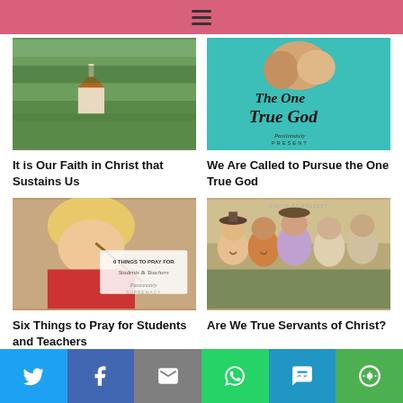≡
[Figure (photo): Aerial view of a small white church in a green rural landscape with trees and fields]
[Figure (photo): Book cover style image on teal background reading 'The One True God' in script font]
It is Our Faith in Christ that Sustains Us
We Are Called to Pursue the One True God
[Figure (photo): Child writing with pencil, overlay text reads '6 Things to Pray for Students & Teachers']
[Figure (photo): Group of women laughing together outdoors in a field]
Six Things to Pray for Students and Teachers
Are We True Servants of Christ?
Twitter | Facebook | Email | WhatsApp | SMS | More